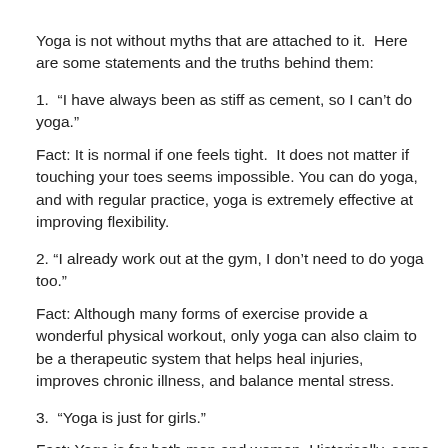Yoga is not without myths that are attached to it.  Here are some statements and the truths behind them:
1.  “I have always been as stiff as cement, so I can’t do yoga.”
Fact: It is normal if one feels tight.  It does not matter if touching your toes seems impossible. You can do yoga, and with regular practice, yoga is extremely effective at improving flexibility.
2. “I already work out at the gym, I don’t need to do yoga too.”
Fact: Although many forms of exercise provide a wonderful physical workout, only yoga can also claim to be a therapeutic system that helps heal injuries, improves chronic illness, and balance mental stress.
3.  “Yoga is just for girls.”
Fact: Yoga is for both men and women. Historically, some of the greatest yoga teachers for over 2000 years have been men.
4. “Yoga is a religion.”